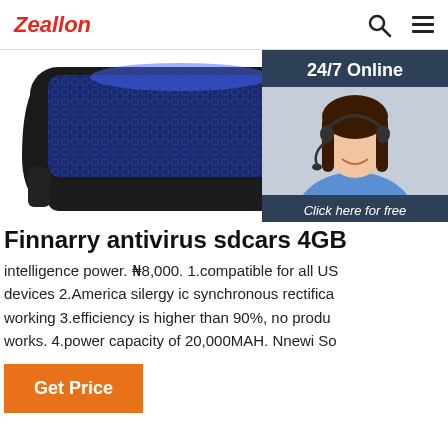Zeallon
[Figure (photo): Product image of a laptop cooling pad with blue LED lighting and black plastic frame, partially visible from the top]
[Figure (photo): 24/7 Online chat widget with a female customer service agent wearing a headset, smiling. Includes 'Click here for free chat!' text and a QUOTATION button.]
Finnarry antivirus sdcars 4GB
intelligence power. ₦8,000. 1.compatible for all US devices 2.America silergy ic synchronous rectifica working 3.efficiency is higher than 90%, no produ works. 4.power capacity of 20,000MAH. Nnewi So
Get Price